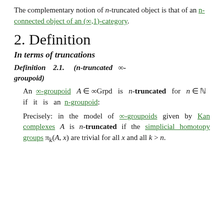The complementary notion of n-truncated object is that of an n-connected object of an (∞,1)-category.
2. Definition
In terms of truncations
Definition 2.1. (n-truncated ∞-groupoid)
An ∞-groupoid A ∈ ∞Grpd is n-truncated for n ∈ ℕ if it is an n-groupoid:
Precisely: in the model of ∞-groupoids given by Kan complexes A is n-truncated if the simplicial homotopy groups π_k(A, x) are trivial for all x and all k > n.